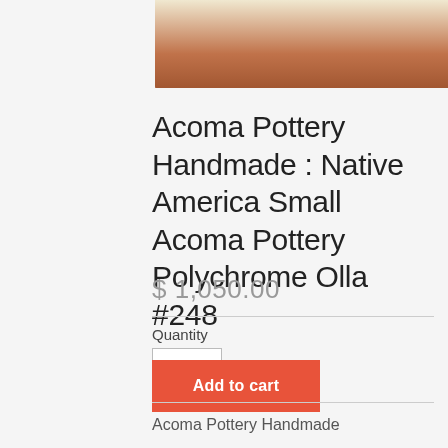[Figure (photo): Bottom portion of a ceramic pottery bowl with orange-brown and cream coloring with decorative painted design]
Acoma Pottery Handmade : Native America Small Acoma Pottery Polychrome Olla #248
$ 1,050.00
Quantity
1
Add to cart
Acoma Pottery Handmade